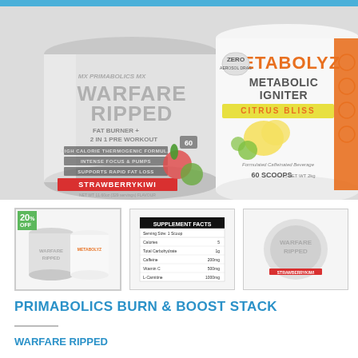[Figure (photo): Two supplement product containers: Primabolics Warfare Ripped (Fat Burner + 2in1 Pre Workout, Strawberry Kiwi flavour, 60 servings) on the left and Metabolyz Metabolic Igniter (Citrus Bliss flavour, 60 scoops) on the right. Both white containers shown close up against a light grey background.]
[Figure (photo): Thumbnail 1 (active/selected): Both products shown together with a green '20% OFF' badge in corner]
[Figure (photo): Thumbnail 2: Supplement facts label shown]
[Figure (photo): Thumbnail 3: Single Warfare Ripped container shown from above/front]
PRIMABOLICS BURN & BOOST STACK
WARFARE RIPPED